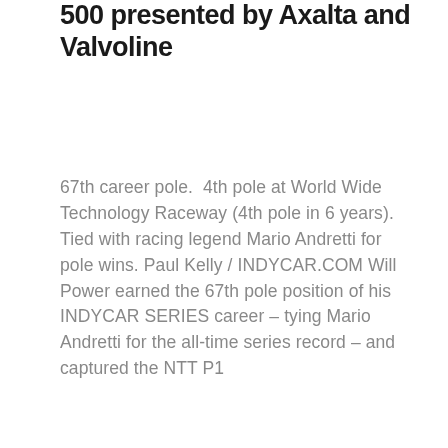500 presented by Axalta and Valvoline
67th career pole.  4th pole at World Wide Technology Raceway (4th pole in 6 years). Tied with racing legend Mario Andretti for pole wins. Paul Kelly / INDYCAR.COM Will Power earned the 67th pole position of his INDYCAR SERIES career – tying Mario Andretti for the all-time series record – and captured the NTT P1
READ MORE